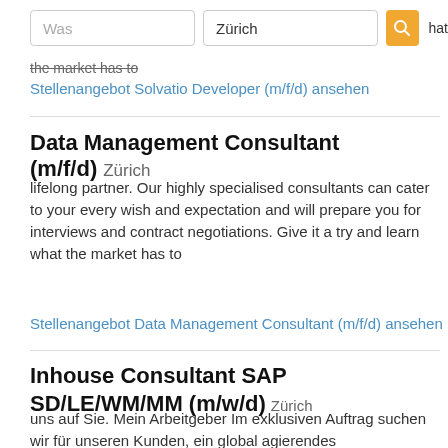[Figure (screenshot): Search bar with 'Was' input field, 'Zürich' input field, and orange search button with magnifying glass icon]
the market has to
Stellenangebot Solvatio Developer (m/f/d) ansehen
Data Management Consultant (m/f/d)  Zürich
lifelong partner. Our highly specialised consultants can cater to your every wish and expectation and will prepare you for interviews and contract negotiations. Give it a try and learn what the market has to
Stellenangebot Data Management Consultant (m/f/d) ansehen
Inhouse Consultant SAP SD/LE/WM/MM (m/w/d)  Zürich
uns auf Sie. Mein Arbeitgeber Im exklusiven Auftrag suchen wir für unseren Kunden, ein global agierendes Industrieunternehmen mit Hauptsitz in der Schweiz, einen Inhouse Consultant SAP Logistics & Distribution (m/w/d